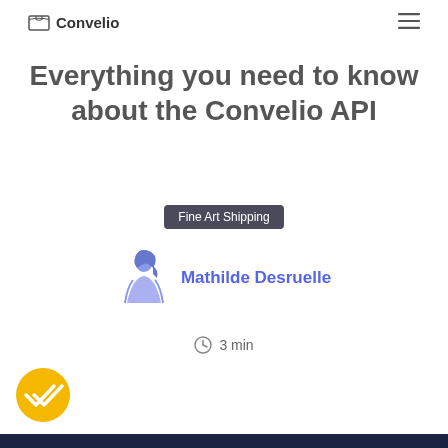Convelio
Everything you need to know about the Convelio API
Fine Art Shipping
Mathilde Desruelle
3 min
[Figure (other): Yellow circular badge with double-check mark icon]